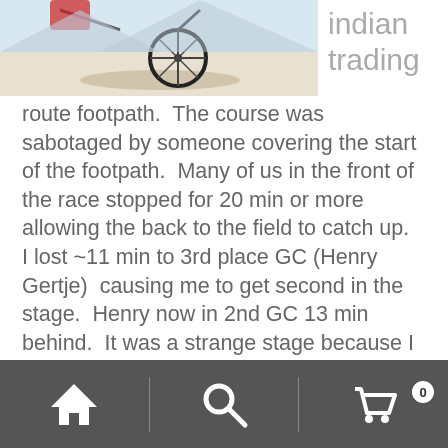[Figure (photo): Cyclist on a snowy or sandy course, top portion of image visible]
indian trading
route footpath.  The course was sabotaged by someone covering the start of the footpath.  Many of us in the front of the race stopped for 20 min or more allowing the back to the field to catch up.   I lost ~11 min to 3rd place GC (Henry Gertje)  causing me to get second in the stage.  Henry now in 2nd GC 13 min behind.  It was a strange stage because I finished 5 min ahead of Henry, but he was faster in the timed section caused by the sabotage he took the stage win.
Stage 3
Navigation bar with home, search, and cart (0) icons